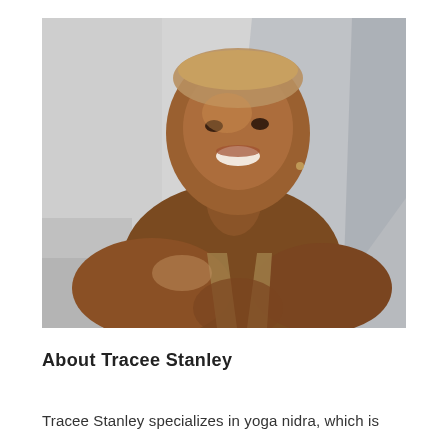[Figure (photo): Portrait photo of Tracee Stanley, a smiling woman with close-cropped hair, wearing a halter-style top, photographed against a light gray wall background with shadow detail.]
About Tracee Stanley
Tracee Stanley specializes in yoga nidra, which is